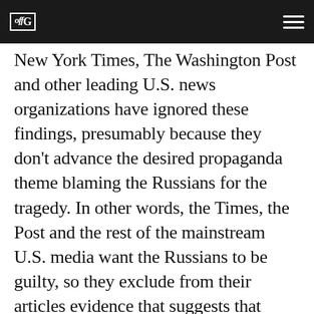offG
New York Times, The Washington Post and other leading U.S. news organizations have ignored these findings, presumably because they don't advance the desired propaganda theme blaming the Russians for the tragedy. In other words, the Times, the Post and the rest of the mainstream U.S. media want the Russians to be guilty, so they exclude from their articles evidence that suggests that some element of the Ukrainian military might have fired the fateful missile. Such “group think” is, of course, the same journalistic malfeasance